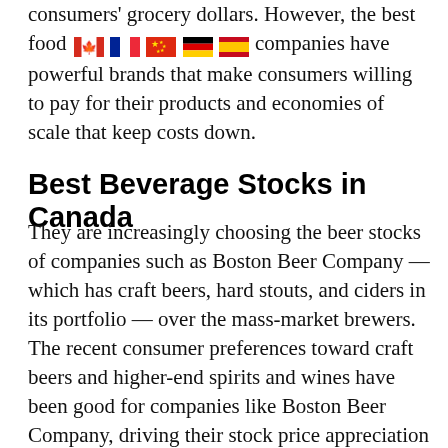consumers' grocery dollars. However, the best food companies have powerful brands that make consumers willing to pay for their products and economies of scale that keep costs down.
Best Beverage Stocks in Canada
They are increasingly choosing the beer stocks of companies such as Boston Beer Company — which has craft beers, hard stouts, and ciders in its portfolio — over the mass-market brewers. The recent consumer preferences toward craft beers and higher-end spirits and wines have been good for companies like Boston Beer Company, driving their stock price appreciation